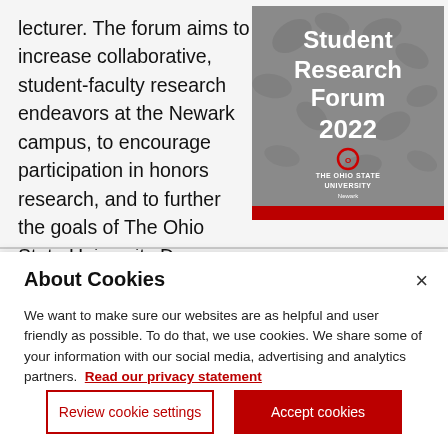lecturer. The forum aims to increase collaborative, student-faculty research endeavors at the Newark campus, to encourage participation in honors research, and to further the goals of The Ohio State University Denman Undergraduate Research Forum and The Ohio State University
[Figure (illustration): Cover of Student Research Forum 2022 booklet with The Ohio State University Newark branding, gray floral background pattern, bold white text reading 'Student Research Forum 2022', OSU logo, and red bottom bar.]
About Cookies
We want to make sure our websites are as helpful and user friendly as possible. To do that, we use cookies. We share some of your information with our social media, advertising and analytics partners. Read our privacy statement